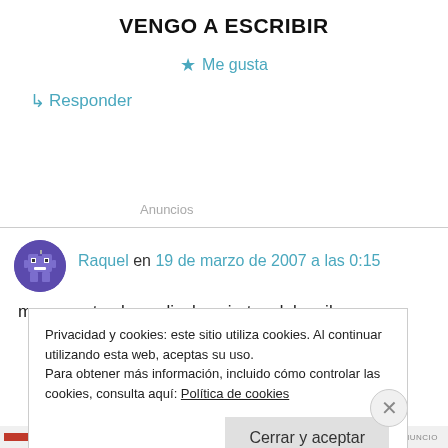VENGO A ESCRIBIR
★ Me gusta
↳ Responder
Anuncios
Raquel en 19 de marzo de 2007 a las 0:15
me encantan las peliculas piratas del caribe, son
Privacidad y cookies: este sitio utiliza cookies. Al continuar utilizando esta web, aceptas su uso.
Para obtener más información, incluido cómo controlar las cookies, consulta aquí: Política de cookies
Cerrar y aceptar